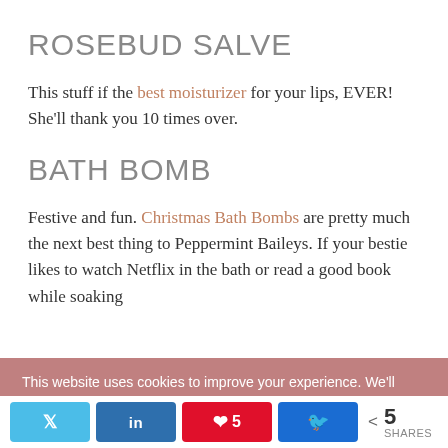ROSEBUD SALVE
This stuff if the best moisturizer for your lips, EVER! She'll thank you 10 times over.
BATH BOMB
Festive and fun. Christmas Bath Bombs are pretty much the next best thing to Peppermint Baileys. If your bestie likes to watch Netflix in the bath or read a good book while soaking
This website uses cookies to improve your experience. We'll assume you're ok with this, but you can opt-out if you wish.
Share buttons: Twitter, LinkedIn, Pinterest 5, Facebook | 5 SHARES